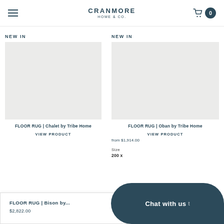CRANMORE HOME & CO.
NEW IN
[Figure (photo): Product image area for floor rug - Chalet by Tribe Home]
FLOOR RUG | Chalet by Tribe Home
VIEW PRODUCT
NEW IN
[Figure (photo): Product image area for floor rug - Oban by Tribe Home]
FLOOR RUG | Oban by Tribe Home
VIEW PRODUCT
from $1,914.00
Size
200 x
FLOOR RUG | Bison by...
$2,822.00
Chat with us